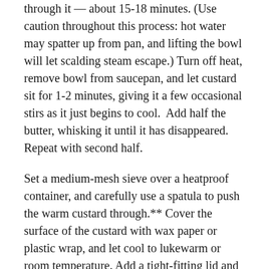through it — about 15-18 minutes. (Use caution throughout this process: hot water may spatter up from pan, and lifting the bowl will let scalding steam escape.) Turn off heat, remove bowl from saucepan, and let custard sit for 1-2 minutes, giving it a few occasional stirs as it just begins to cool.  Add half the butter, whisking it until it has disappeared. Repeat with second half.
Set a medium-mesh sieve over a heatproof container, and carefully use a spatula to push the warm custard through.** Cover the surface of the custard with wax paper or plastic wrap, and let cool to lukewarm or room temperature. Add a tight-fitting lid and refrigerate several hours, until thoroughly chilled. Use within a week, keeping it chilled anytime it's not being served.
Cranberry curd offers refreshing tartness in a lusciously indulgent form. Its versatility is a welcome